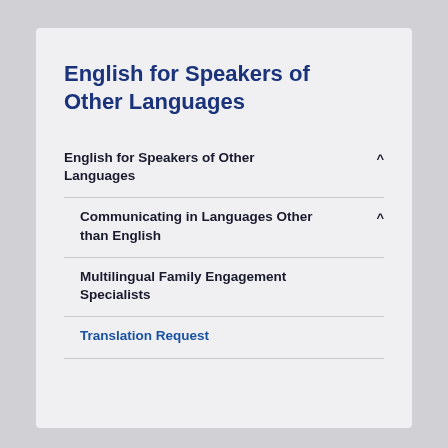English for Speakers of Other Languages
English for Speakers of Other Languages ^
Communicating in Languages Other than English ^
Multilingual Family Engagement Specialists
Translation Request